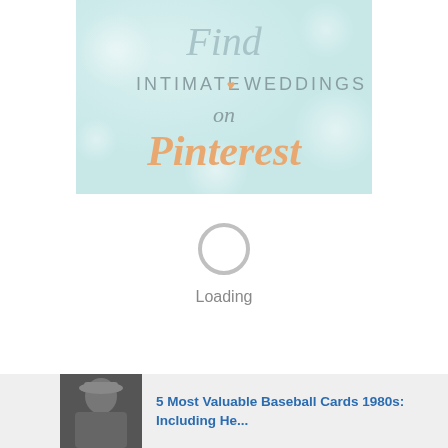[Figure (illustration): Promotional banner image with light blue/mint background and bokeh circles. Text reads 'Find INTIMATE heart WEDDINGS on Pinterest' where Pinterest is in orange cursive script and the heart is an orange heart icon between INTIMATE and WEDDINGS.]
Loading
[Figure (photo): Thumbnail photo of a man wearing a cap, used as article thumbnail.]
5 Most Valuable Baseball Cards 1980s: Including He...